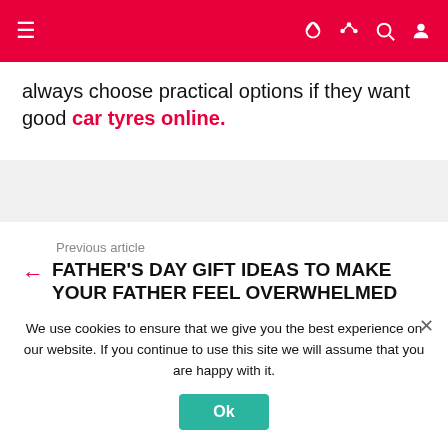Navigation bar with hamburger menu and icons
always choose practical options if they want good car tyres online.
Previous article
FATHER'S DAY GIFT IDEAS TO MAKE YOUR FATHER FEEL OVERWHELMED
Next article
Pest Prevention Tips for Student Housing
We use cookies to ensure that we give you the best experience on our website. If you continue to use this site we will assume that you are happy with it.